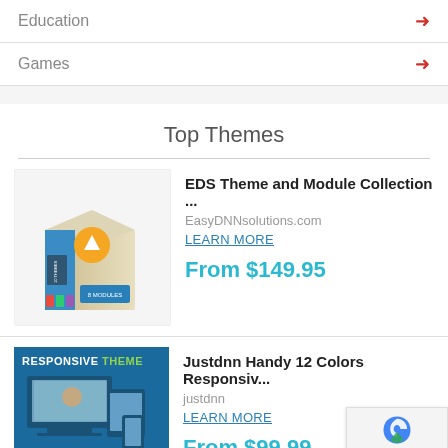Education →
Games →
Top Themes
EDS Theme and Module Collection ...
EasyDNNsolutions.com
LEARN MORE
From $149.95
Justdnn Handy 12 Colors Responsiv...
justdnn
LEARN MORE
From $99.99